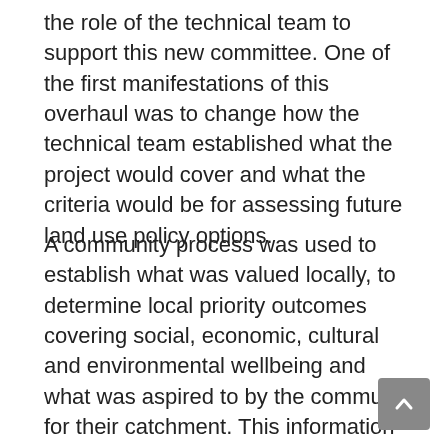the role of the technical team to support this new committee. One of the first manifestations of this overhaul was to change how the technical team established what the project would cover and what the criteria would be for assessing future land use policy options.
A community process was used to establish what was valued locally, to determine local priority outcomes covering social, economic, cultural and environmental wellbeing and what was aspired to by the community for their catchment. This information shaped the technical assessment framework, shown in the figure below, in four major ways.